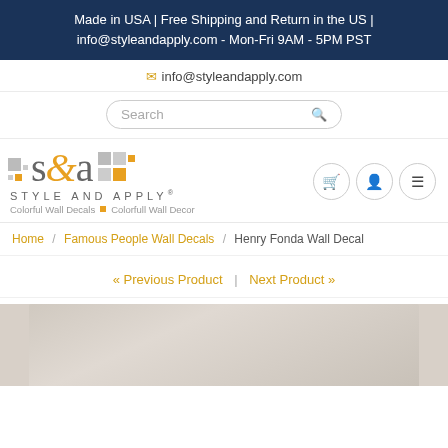Made in USA | Free Shipping and Return in the US | info@styleandapply.com - Mon-Fri 9AM - 5PM PST
info@styleandapply.com
[Figure (screenshot): Search input bar with rounded border]
[Figure (logo): Style and Apply logo with s&a graphic and squares, tagline: Colorful Wall Decals | Colorfull Wall Decor]
[Figure (other): Three circular icon buttons: shopping cart, user profile, hamburger menu]
Home / Famous People Wall Decals / Henry Fonda Wall Decal
« Previous Product | Next Product »
[Figure (photo): Partial product photo showing a wall/room corner in beige/gray tones]